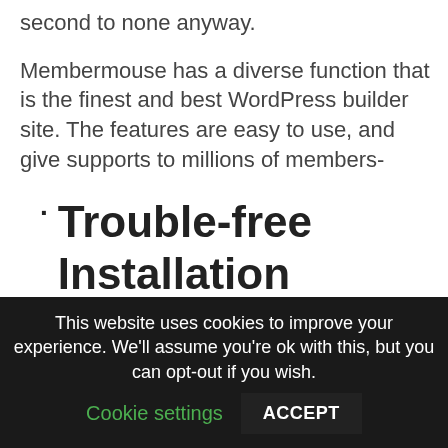second to none anyway.
Membermouse has a diverse function that is the finest and best WordPress builder site. The features are easy to use, and give supports to millions of members-
Trouble-free Installation
Membermouse mixes with your likable WordPress theme as well as plugin
This website uses cookies to improve your experience. We'll assume you're ok with this, but you can opt-out if you wish. Cookie settings ACCEPT